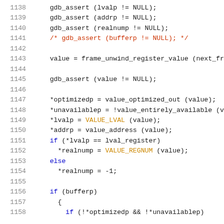[Figure (screenshot): Source code listing showing C/C++ code lines 1138-1158 with syntax highlighting. Line numbers in grey on left, code in black, red for comments, orange for macros, blue for keywords.]